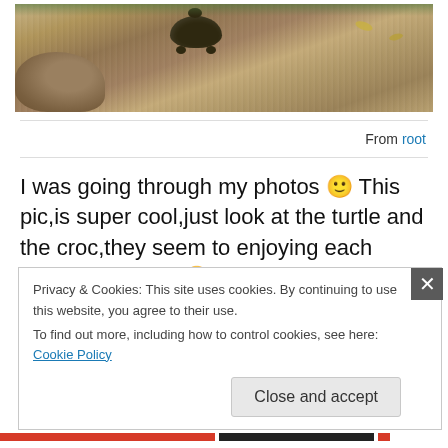[Figure (photo): Photo of a turtle on sandy ground near rocks, appears to be in a natural outdoor setting]
From root
I was going through my photos 🙂 This pic,is super cool,just look at the turtle and the croc,they seem to enjoying each others company 😛 And i caught up with them too..they refused to shut their mouths up and those
Privacy & Cookies: This site uses cookies. By continuing to use this website, you agree to their use.
To find out more, including how to control cookies, see here: Cookie Policy
Close and accept